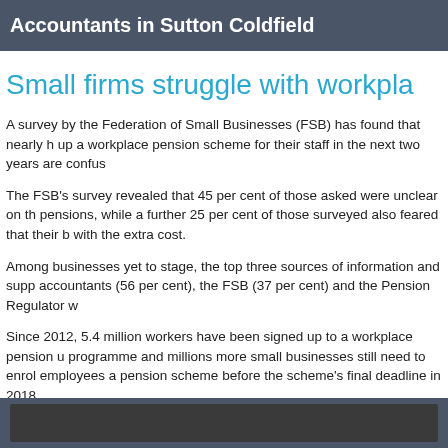Accountants in Sutton Coldfield
Small firms struggle with workpla…
A survey by the Federation of Small Businesses (FSB) has found that nearly h… up a workplace pension scheme for their staff in the next two years are confus…
The FSB's survey revealed that 45 per cent of those asked were unclear on th… pensions, while a further 25 per cent of those surveyed also feared that their b… with the extra cost.
Among businesses yet to stage, the top three sources of information and supp… accountants (56 per cent), the FSB (37 per cent) and the Pension Regulator w…
Since 2012, 5.4 million workers have been signed up to a workplace pension u… programme and millions more small businesses still need to enrol employees a… pension scheme before the scheme's final deadline in 2018.